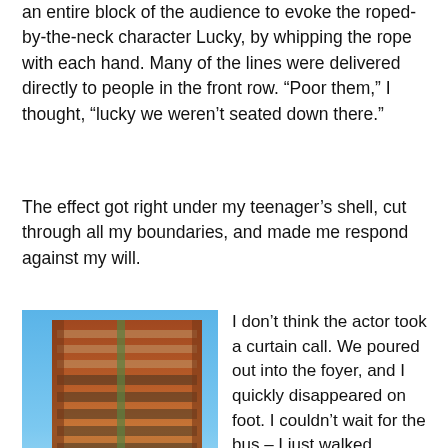an entire block of the audience to evoke the roped-by-the-neck character Lucky, by whipping the rope with each hand. Many of the lines were delivered directly to people in the front row. “Poor them,” I thought, “lucky we weren’t seated down there.”
The effect got right under my teenager’s shell, cut through all my boundaries, and made me respond against my will.
[Figure (photo): Exterior photo of a red/brick theatre building shot from below against a blue sky, with the Sydney Harbour Bridge visible in the background.]
ABSURD THEATRE Sydney Theatre
I don’t think the actor took a curtain call. We poured out into the foyer, and I quickly disappeared on foot. I couldn’t wait for the bus – I just walked.
I strode through the city, walking over two kilometres, trying to rid myself of the feelings. Muttering how ‘bad’